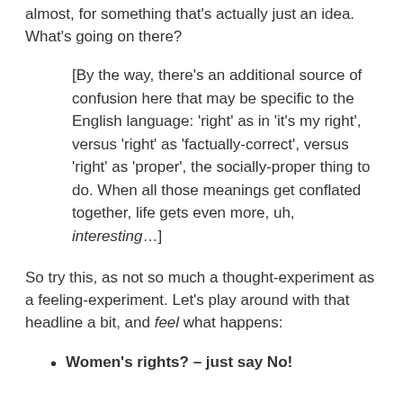almost, for something that's actually just an idea. What's going on there?
[By the way, there's an additional source of confusion here that may be specific to the English language: 'right' as in 'it's my right', versus 'right' as 'factually-correct', versus 'right' as 'proper', the socially-proper thing to do. When all those meanings get conflated together, life gets even more, uh, interesting…]
So try this, as not so much a thought-experiment as a feeling-experiment. Let's play around with that headline a bit, and feel what happens:
Women's rights? – just say No!